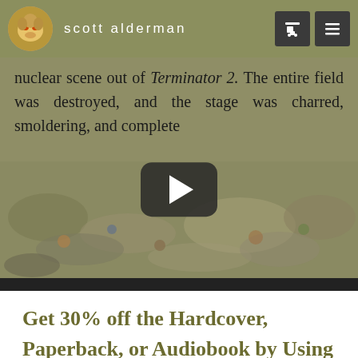scott alderman
nuclear scene out of Terminator 2. The entire field was destroyed, and the stage was charred, smoldering, and complete
[Figure (screenshot): Video player with play button overlay on a blurred crowd/field background]
Get 30% off the Hardcover, Paperback, or Audiobook by Using Code: 30OFF
Shop Now